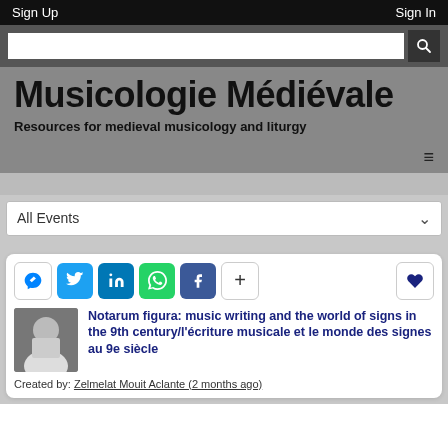Sign Up    Sign In
Musicologie Médiévale
Resources for medieval musicology and liturgy
All Events
Notarum figura: music writing and the world of signs in the 9th century/l'écriture musicale et le monde des signes au 9e siècle
Created by: (2 months ago)